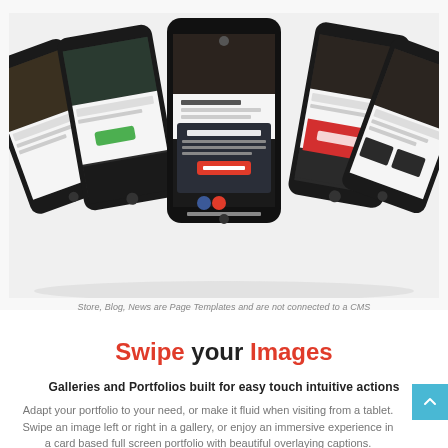[Figure (photo): Multiple smartphone screens fanned out showing various app/website templates including blog, news, store pages with dark and colorful themes. Center phone is prominent showing a support modal overlay.]
Store, Blog, News are Page Templates and are not connected to a CMS
Swipe your Images
Galleries and Portfolios built for easy touch intuitive actions
Adapt your portfolio to your need, or make it fluid when visiting from a tablet. Swipe an image left or right in a gallery, or enjoy an immersive experience in a card based full screen portfolio with beautiful overlaying captions.